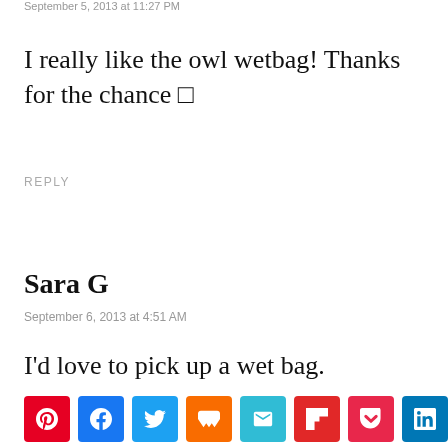September 5, 2013 at 11:27 PM
I really like the owl wetbag! Thanks for the chance 🙂
REPLY
Sara G
September 6, 2013 at 4:51 AM
I'd love to pick up a wet bag.
REPLY